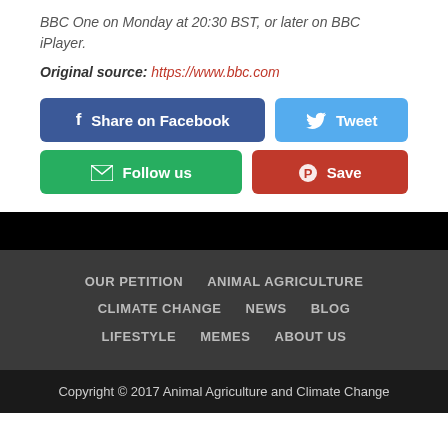BBC One on Monday at 20:30 BST, or later on BBC iPlayer.
Original source: https://www.bbc.com
[Figure (infographic): Social sharing buttons: Share on Facebook, Tweet, Follow us, Save (Pinterest)]
OUR PETITION   ANIMAL AGRICULTURE   CLIMATE CHANGE   NEWS   BLOG   LIFESTYLE   MEMES   ABOUT US
Copyright © 2017 Animal Agriculture and Climate Change